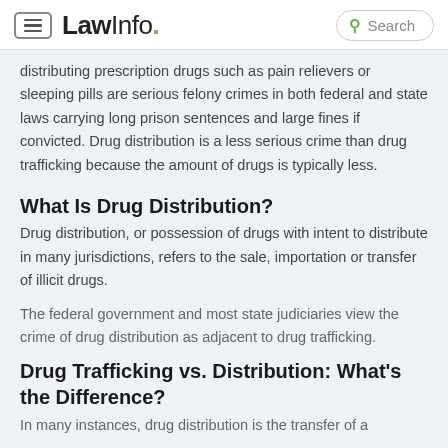LawInfo. Search
distributing prescription drugs such as pain relievers or sleeping pills are serious felony crimes in both federal and state laws carrying long prison sentences and large fines if convicted. Drug distribution is a less serious crime than drug trafficking because the amount of drugs is typically less.
What Is Drug Distribution?
Drug distribution, or possession of drugs with intent to distribute in many jurisdictions, refers to the sale, importation or transfer of illicit drugs.
The federal government and most state judiciaries view the crime of drug distribution as adjacent to drug trafficking.
Drug Trafficking vs. Distribution: What's the Difference?